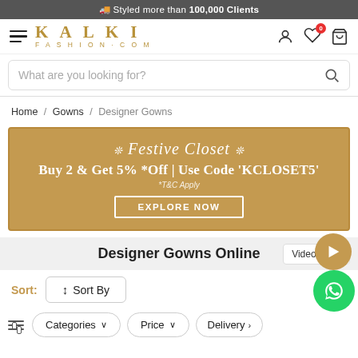🚚 Styled more than 100,000 Clients
[Figure (logo): Kalki Fashion.com logo with hamburger menu and navigation icons]
What are you looking for?
Home / Gowns / Designer Gowns
[Figure (infographic): Festive Closet promo banner: Buy 2 & Get 5% *Off | Use Code 'KCLOSET5' — *T&C Apply — EXPLORE NOW button]
Designer Gowns Online
Video Shop
Sort:  ↕ Sort By
Categories ∨   Price ∨   Delivery ›